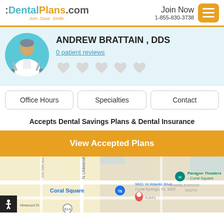DentalPlans.com — Join. Save. Smile. | Join Now 1-855-830-3738
ANDREW BRATTAIN , DDS
0 patient reviews
Accepts Dental Savings Plans & Dental Insurance
View Accepted Plans
[Figure (map): Google Maps showing location near 9601 W Atlantic Blvd, Coral Springs, FL 3307, with Coral Square mall and Paragon Theaters - Coral Square visible nearby.]